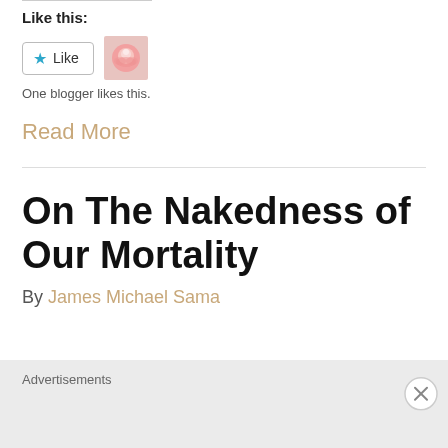Like this:
[Figure (other): Like button with star icon and a rose thumbnail image]
One blogger likes this.
Read More
On The Nakedness of Our Mortality
By James Michael Sama
Advertisements